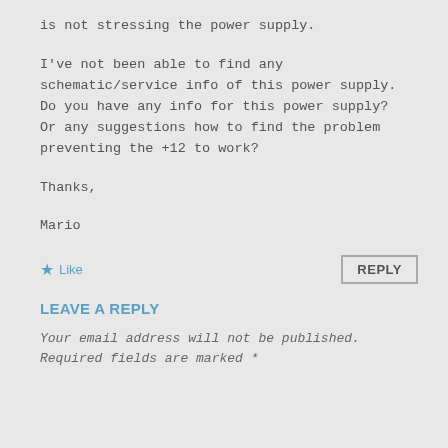is not stressing the power supply.
I've not been able to find any schematic/service info of this power supply. Do you have any info for this power supply? Or any suggestions how to find the problem preventing the +12 to work?
Thanks,
Mario
★ Like
REPLY
LEAVE A REPLY
Your email address will not be published.
Required fields are marked *